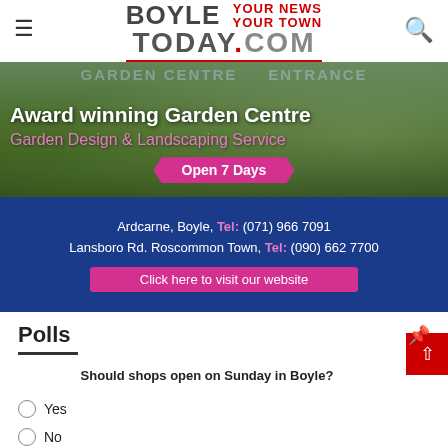BOYLE YOUR NEWS YOUR TOWN TODAY.COM
[Figure (photo): Advertisement banner for an award winning Garden Centre showing outdoor garden furniture and plants, with text: Award winning Garden Centre, Garden Design & Landscaping Service, Open 7 Days, Ardcarne, Boyle, Tel: (071) 966 7091, Lansboro Rd. Roscommon Town, Tel: (090) 662 7700, Click here to visit our website]
Polls
Should shops open on Sunday in Boyle?
Yes
No